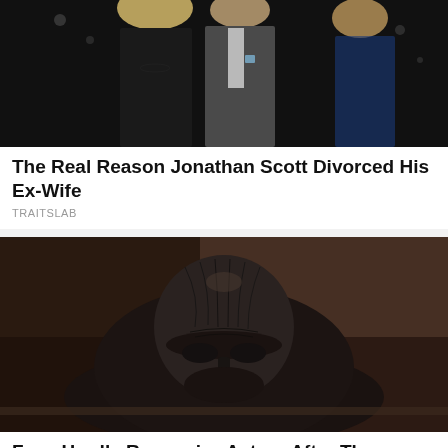[Figure (photo): A couple at a formal event; a woman in a black strapless dress with blonde hair and a man in a gray suit, with another blonde woman partially visible on the right]
The Real Reason Jonathan Scott Divorced His Ex-Wife
TRAITSLAB
[Figure (photo): A dark, dramatic sculpture or creature with a wrinkled face and textured dark body emerging from a surface, resembling a horror or fantasy character]
Fans Hardly Recognize Actors After These Drastic Transformations